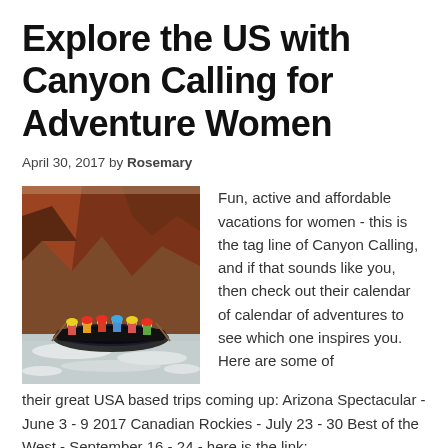Explore the US with Canyon Calling for Adventure Women
April 30, 2017 by Rosemary
[Figure (photo): Group of women white water rafting on a river with red canyon walls in the background]
Fun, active and affordable vacations for women - this is the tag line of Canyon Calling, and if that sounds like you, then check out their calendar of calendar of adventures to see which one inspires you. Here are some of their great USA based trips coming up: Arizona Spectacular - June 3 - 9 2017 Canadian Rockies - July 23 - 30 Best of the West - September 16 - 24 - here is the link: